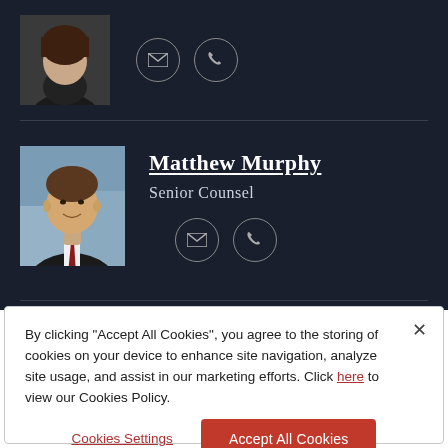[Figure (photo): Partial profile photo of a woman in dark jacket, cropped at top of page]
[Figure (photo): Two circular icon buttons: email envelope and phone, for the first contact]
[Figure (photo): Professional headshot of Matthew Murphy, man in suit with red tie]
Matthew Murphy
Senior Counsel
[Figure (other): Two circular contact icon buttons: email envelope and phone]
By clicking "Accept All Cookies", you agree to the storing of cookies on your device to enhance site navigation, analyze site usage, and assist in our marketing efforts. Click here to view our Cookies Policy.
Cookies Settings
Accept All Cookies